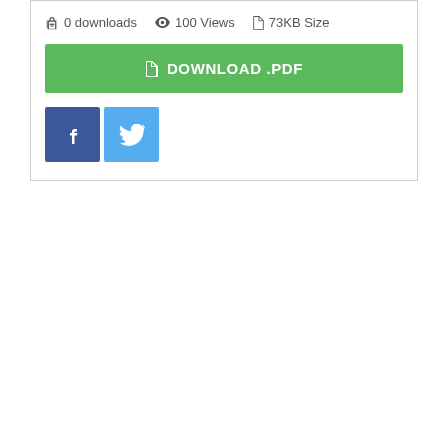0 downloads  100 Views  73KB Size
DOWNLOAD .PDF
[Figure (other): Facebook and Twitter social share buttons]